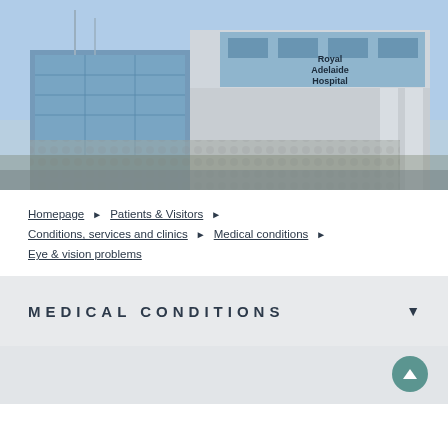[Figure (photo): Exterior photograph of the Royal Adelaide Hospital building — a modern multi-storey structure with blue glass cladding, decorative patterned panels, and the hospital name visible on the facade against a clear blue sky.]
Homepage ► Patients & Visitors ►
Conditions, services and clinics ► Medical conditions ►
Eye & vision problems
MEDICAL CONDITIONS